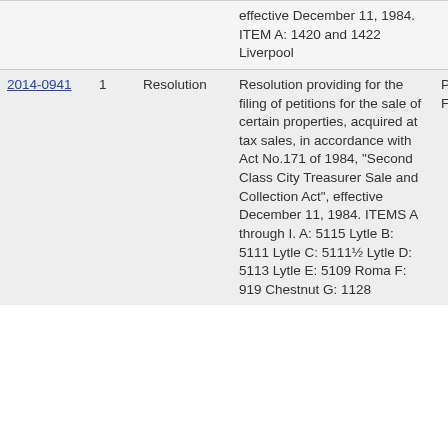| ID | Num | Type | Description | Status |
| --- | --- | --- | --- | --- |
|  |  |  | effective December 11, 1984. ITEM A: 1420 and 1422 Liverpool |  |
| 2014-0941 | 1 | Resolution | Resolution providing for the filing of petitions for the sale of certain properties, acquired at tax sales, in accordance with Act No.171 of 1984, "Second Class City Treasurer Sale and Collection Act", effective December 11, 1984. ITEMS A through I. A: 5115 Lytle B: 5111 Lytle C: 5111½ Lytle D: 5113 Lytle E: 5109 Roma F: 919 Chestnut G: 1128 | Passed Finally |